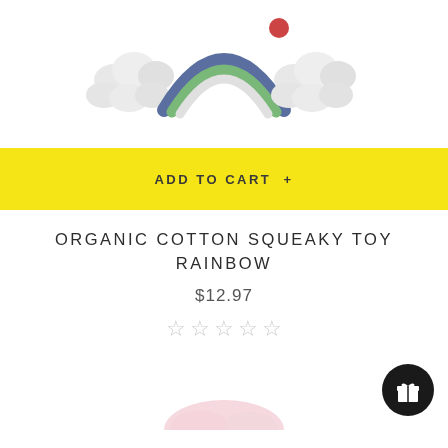[Figure (photo): Crocheted rainbow squeaky toy product image, partially cropped at top of page]
ADD TO CART +
ORGANIC COTTON SQUEAKY TOY RAINBOW
$12.97
[Figure (other): Five empty star rating icons indicating no reviews]
[Figure (photo): Partial product image at bottom of page, cropped]
[Figure (other): Black circular gift/loyalty button icon in bottom right corner]